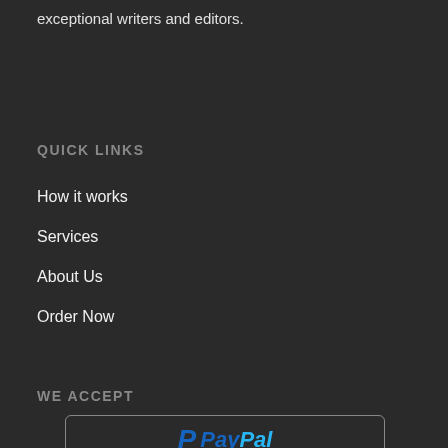exceptional writers and editors.
QUICK LINKS
How it works
Services
About Us
Order Now
WE ACCEPT
[Figure (logo): PayPal logo with blue 'P' symbol and PayPal text in blue]